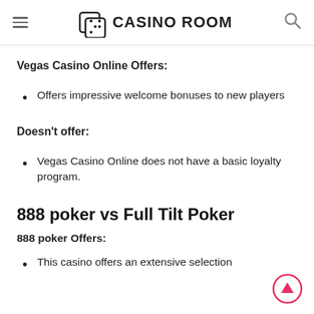CASINO ROOM
Vegas Casino Online Offers:
Offers impressive welcome bonuses to new players
Doesn't offer:
Vegas Casino Online does not have a basic loyalty program.
888 poker vs Full Tilt Poker
888 poker Offers:
This casino offers an extensive selection